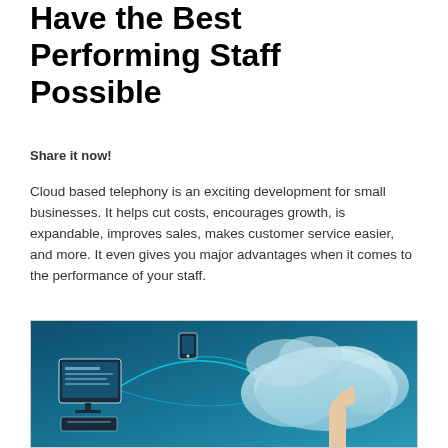Have the Best Performing Staff Possible
Share it now!
Cloud based telephony is an exciting development for small businesses. It helps cut costs, encourages growth, is expandable, improves sales, makes customer service easier, and more. It even gives you major advantages when it comes to the performance of your staff.
[Figure (photo): Cloud telephony illustration showing a computer desktop with documents on screen, connected by glowing arcs to cloud icons, with a hand pointing upward at the clouds against a blue gradient background.]